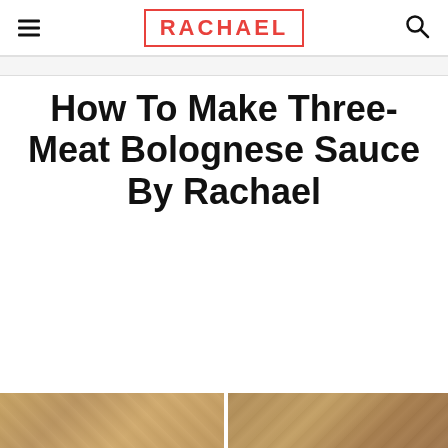RACHAEL
How To Make Three-Meat Bolognese Sauce By Rachael
[Figure (photo): Two food photos at bottom of page showing pasta/bolognese dishes]